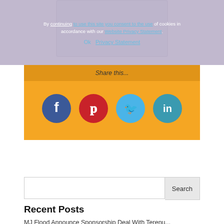[Figure (screenshot): Cookie consent overlay over a device/product image with lavender background. Text reads: By continuing to use this site you consent to the use of cookies in accordance with our Website Privacy Statement. Ok  Privacy Statement]
[Figure (infographic): Share this... orange panel with four social media circular icons: Facebook (blue), Pinterest (red), Twitter (light blue), LinkedIn (teal)]
Search
Recent Posts
MJ Flood Announce Sponsorship Deal With Terenure College RFC
Quocirca name Konica Minolta 'Leader' in Print